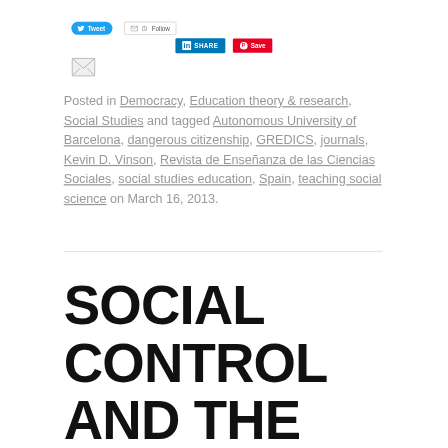[Figure (other): Social sharing buttons: Tweet (blue), Follow (bordered), LinkedIn SHARE (blue), Pinterest Save (red), and email icon]
Posted in Democracy, Education theory & research, Social Studies and tagged Autonomous University of Barcelona, dangerous citizenship, GREDICS, journals, Kevin D. Vinson, Revista de Enseñanza de las Ciencias Sociales, social studies education, Spain, teaching social science on March 16, 2013.
SOCIAL CONTROL AND THE PURSUIT OF DANGEROUS